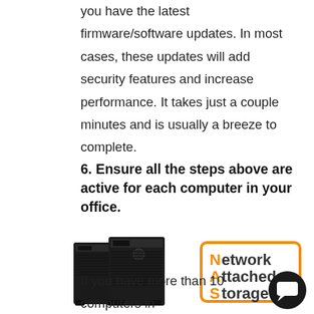you have the latest firmware/software updates. In most cases, these updates will add security features and increase performance. It takes just a couple minutes and is usually a breeze to complete.
6. Ensure all the steps above are active for each computer in your office.
[Figure (illustration): Two black server/NAS tower units shown side by side, with a Network Attached Storage logo box (orange border, letters N, A, S highlighted in orange) to the right.]
If you have more than 10 computers in